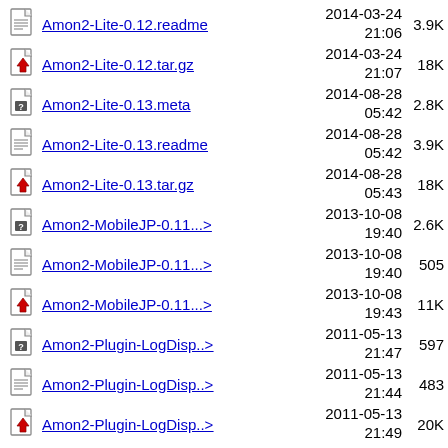Amon2-Lite-0.12.readme  2014-03-24 21:06  3.9K
Amon2-Lite-0.12.tar.gz  2014-03-24 21:07  18K
Amon2-Lite-0.13.meta  2014-08-28 05:42  2.8K
Amon2-Lite-0.13.readme  2014-08-28 05:42  3.9K
Amon2-Lite-0.13.tar.gz  2014-08-28 05:43  18K
Amon2-MobileJP-0.11...>  2013-10-08 19:40  2.6K
Amon2-MobileJP-0.11...>  2013-10-08 19:40  505
Amon2-MobileJP-0.11...>  2013-10-08 19:43  11K
Amon2-Plugin-LogDisp..>  2011-05-13 21:47  597
Amon2-Plugin-LogDisp..>  2011-05-13 21:44  483
Amon2-Plugin-LogDisp..>  2011-05-13 21:49  20K